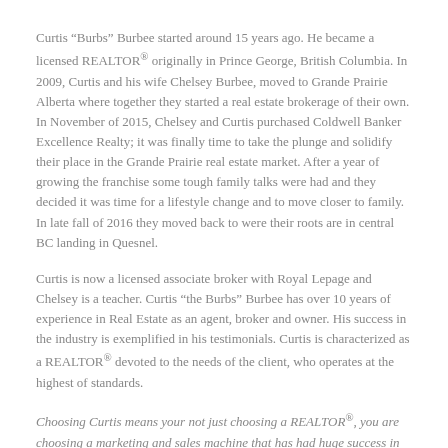Curtis “Burbs” Burbee started around 15 years ago. He became a licensed REALTOR® originally in Prince George, British Columbia. In 2009, Curtis and his wife Chelsey Burbee, moved to Grande Prairie Alberta where together they started a real estate brokerage of their own. In November of 2015, Chelsey and Curtis purchased Coldwell Banker Excellence Realty; it was finally time to take the plunge and solidify their place in the Grande Prairie real estate market. After a year of growing the franchise some tough family talks were had and they decided it was time for a lifestyle change and to move closer to family. In late fall of 2016 they moved back to were their roots are in central BC landing in Quesnel.
Curtis is now a licensed associate broker with Royal Lepage and Chelsey is a teacher. Curtis “the Burbs” Burbee has over 10 years of experience in Real Estate as an agent, broker and owner. His success in the industry is exemplified in his testimonials. Curtis is characterized as a REALTOR® devoted to the needs of the client, who operates at the highest of standards.
Choosing Curtis means your not just choosing a REALTOR®, you are choosing a marketing and sales machine that has had huge success in Real Estate!